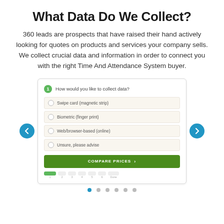What Data Do We Collect?
360 leads are prospects that have raised their hand actively looking for quotes on products and services your company sells. We collect crucial data and information in order to connect you with the right Time And Attendance System buyer.
[Figure (screenshot): A survey widget card showing question 1 'How would you like to collect data?' with four radio button options: 'Swipe card (magnetic strip)', 'Biometric (finger print)', 'Web/browser-based (online)', 'Unsure, please advise'. A green 'COMPARE PRICES' button at the bottom with a right arrow. Progress step bar below showing steps 1-6 and 'Done'. Left and right navigation chevron buttons in blue circles flank the card. Six blue/grey dot indicators at the very bottom.]